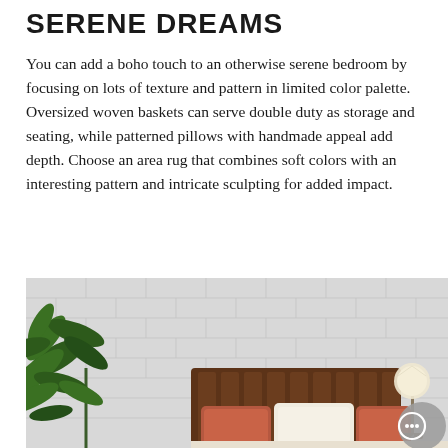SERENE DREAMS
You can add a boho touch to an otherwise serene bedroom by focusing on lots of texture and pattern in limited color palette. Oversized woven baskets can serve double duty as storage and seating, while patterned pillows with handmade appeal add depth. Choose an area rug that combines soft colors with an interesting pattern and intricate sculpting for added impact.
[Figure (photo): Bedroom scene with a white/light grey brick wall background, a dark wooden slatted headboard, terracotta/rust colored pillows and a white pillow on the bed, a green tropical plant on the left side, and a table lamp on the right side. A chat/messaging bubble icon is overlaid in the bottom right corner.]